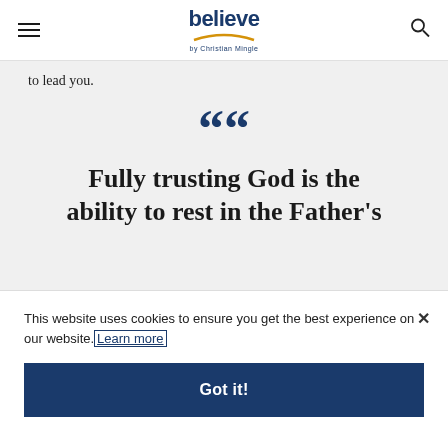believe by Christian Mingle
to lead you.
““
Fully trusting God is the ability to rest in the Father's
This website uses cookies to ensure you get the best experience on our website. Learn more
Got it!